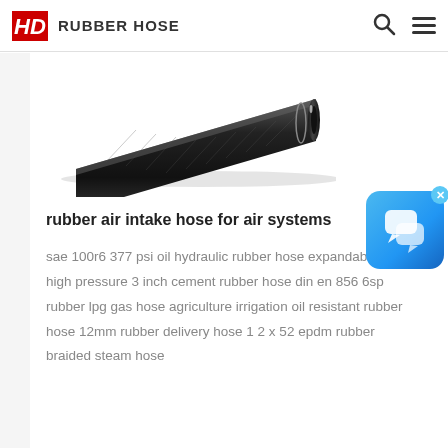HD RUBBER HOSE
[Figure (photo): Black rubber air intake hose photographed diagonally, showing the braided exterior and circular opening at one end]
rubber air intake hose for air systems
sae 100r6 377 psi oil hydraulic rubber hose expandable high pressure 3 inch cement rubber hose din en 856 6sp rubber lpg gas hose agriculture irrigation oil resistant rubber hose 12mm rubber delivery hose 1 2 x 52 epdm rubber braided steam hose